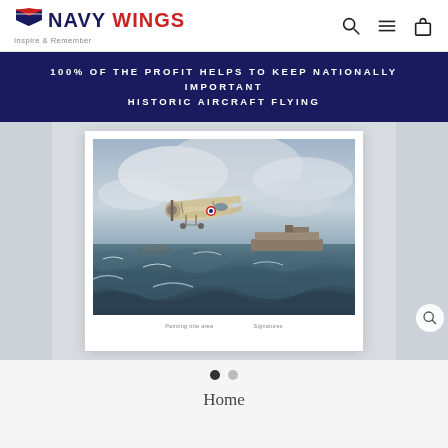NAVY WINGS — Inspire & Remember
100% OF THE PROFIT HELPS TO KEEP NATIONALLY IMPORTANT HISTORIC AIRCRAFT FLYING
[Figure (illustration): A framed painting showing a biplane aircraft flying over a rough sea with an aircraft carrier below, displayed as a product image on a shopping website. Carousel navigation dots visible below.]
Home